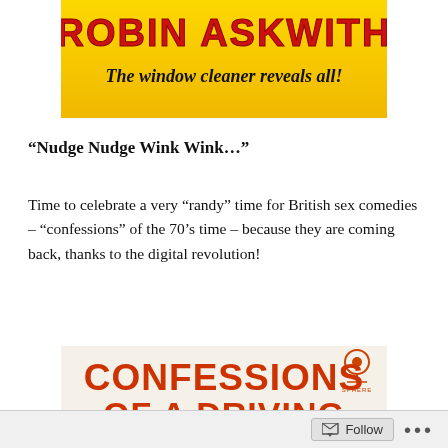[Figure (illustration): Top portion of a book cover for Robin Askwith showing 'The window cleaner reveals all!' on a yellow background with red lettering]
“Nudge Nudge Wink Wink…”
Time to celebrate a very “randy” time for British sex comedies – “confessions” of the 70’s time – because they are coming back, thanks to the digital revolution!
[Figure (illustration): Book cover showing 'CONFESSIONS OF A DRIVING INSTRUCTOR' in large bold orange/red letters on a light background, with a Sphere publisher logo in top right]
Follow •••